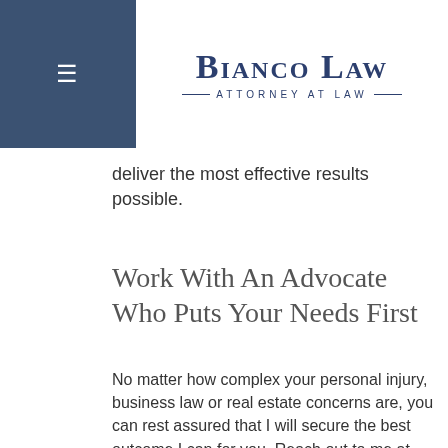[Figure (logo): Bianco Law — Attorney at Law logo with navy blue text and hamburger menu icon on dark blue background]
deliver the most effective results possible.
Work With An Advocate Who Puts Your Needs First
No matter how complex your personal injury, business law or real estate concerns are, you can rest assured that I will secure the best outcome I can for you. Reach out to me at my office in North Bergen to request a free initial consultation so we can discuss your needs. Call 201-897-3720 or